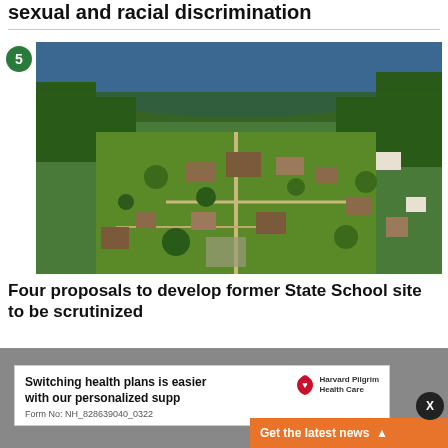sexual and racial discrimination
[Figure (photo): Aerial photograph of a campus-like complex with buildings, roads, green fields, and a lake/water body visible in the background surrounded by forested hills]
Four proposals to develop former State School site to be scrutinized
[Figure (infographic): Advertisement banner for Harvard Pilgrim Health Care reading 'Switching health plans is easier with our personalized supp...' with Form No: NH_828639040_0322, a close (X) button, and an orange 'Get the latest news' bar at the bottom right]